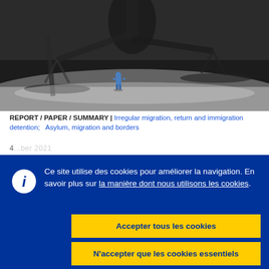[Figure (photo): Black and white artistic photo of a small human figure standing beneath large shadows of scales of justice, dramatic lighting from above.]
REPORT / PAPER / SUMMARY | Irregular migration, return and immigration detention;   Asylum, migration and borders
4...ber 2021
Ce site utilise des cookies pour améliorer la navigation. En savoir plus sur la manière dont nous utilisons les cookies.
Accepter tous les cookies
N'accepter que les cookies essentiels